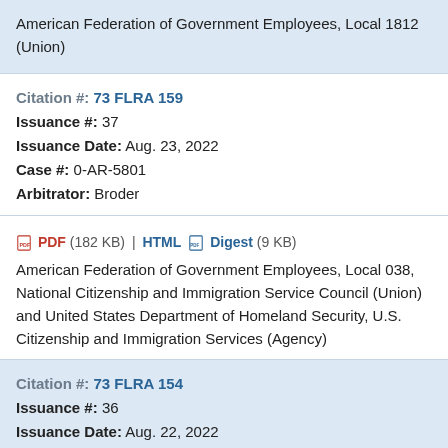American Federation of Government Employees, Local 1812 (Union)
Citation #: 73 FLRA 159
Issuance #: 37
Issuance Date: Aug. 23, 2022
Case #: 0-AR-5801
Arbitrator: Broder
PDF (182 KB) | HTML Digest (9 KB)
American Federation of Government Employees, Local 038, National Citizenship and Immigration Service Council (Union) and United States Department of Homeland Security, U.S. Citizenship and Immigration Services (Agency)
Citation #: 73 FLRA 154
Issuance #: 36
Issuance Date: Aug. 22, 2022